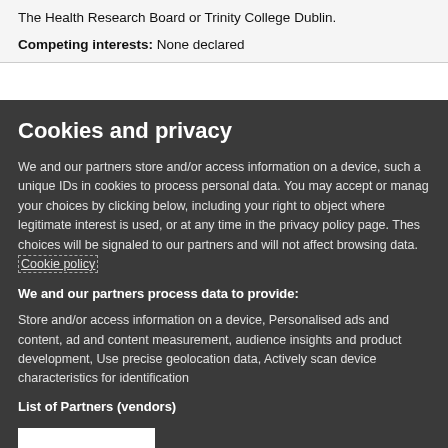The Health Research Board or Trinity College Dublin.
Competing interests:  None declared
Cookies and privacy
We and our partners store and/or access information on a device, such as unique IDs in cookies to process personal data. You may accept or manage your choices by clicking below, including your right to object where legitimate interest is used, or at any time in the privacy policy page. These choices will be signaled to our partners and will not affect browsing data. Cookie policy
We and our partners process data to provide:
Store and/or access information on a device, Personalised ads and content, ad and content measurement, audience insights and product development, Use precise geolocation data, Actively scan device characteristics for identification
List of Partners (vendors)
I Accept